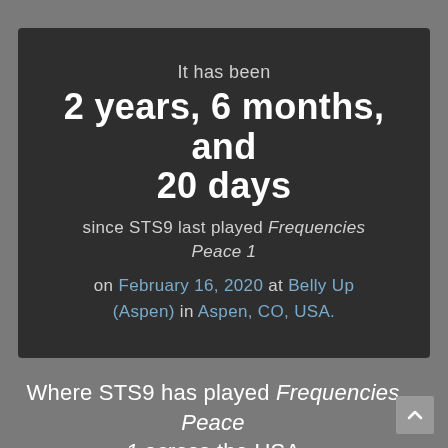It has been
2 years, 6 months, and 20 days
since STS9 last played Frequencies Peace 1
on February 16, 2020 at Belly Up (Aspen) in Aspen, CO, USA.
Where STS9 has played Frequencies Peace 1 across the USA